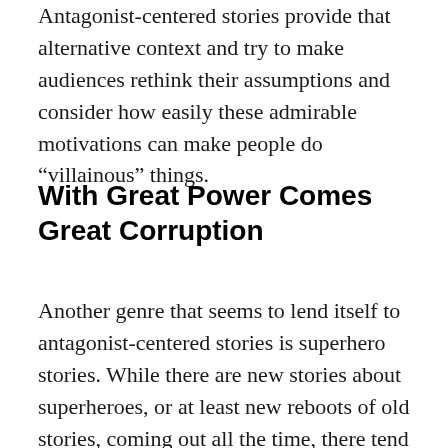Antagonist-centered stories provide that alternative context and try to make audiences rethink their assumptions and consider how easily these admirable motivations can make people do “villainous” things.
With Great Power Comes Great Corruption
Another genre that seems to lend itself to antagonist-centered stories is superhero stories. While there are new stories about superheroes, or at least new reboots of old stories, coming out all the time, there tend to be similarities throughout the genre. The protagonist is usually a heroic bastion of